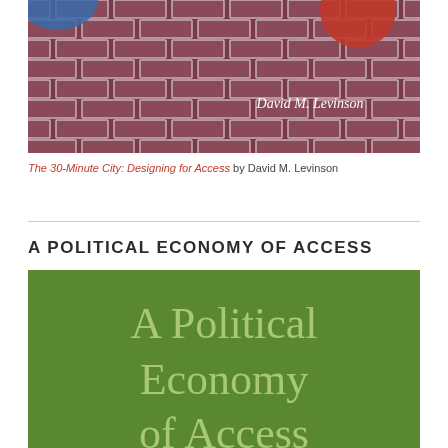[Figure (photo): Book cover of 'The 30-Minute City: Designing for Access' by David M. Levinson, showing a brick-pattern background in dark red/maroon tones with author name in white italic text.]
The 30-Minute City: Designing for Access by David M. Levinson
A POLITICAL ECONOMY OF ACCESS
[Figure (photo): Book cover of 'A Political Economy of Access' displayed on a green background with large light-colored text reading 'A Political Economy of Access'.]